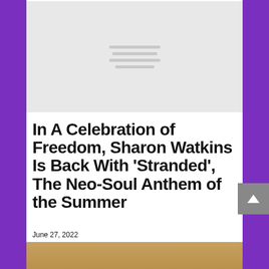[Figure (other): Gray placeholder image with hamburger menu icon lines in the center]
In A Celebration of Freedom, Sharon Watkins Is Back With 'Stranded', The Neo-Soul Anthem of the Summer
June 27, 2022
[Figure (photo): Photo of Sharon Watkins wearing a black cap labeled 'OLD WND', with braided hair and red lipstick, on a warm golden/tan background]